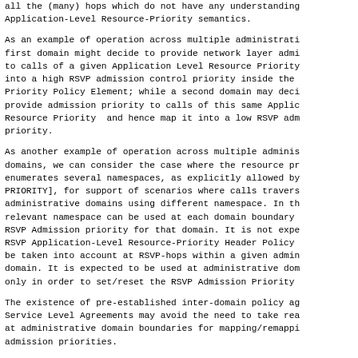all the (many) hops which do not have any understanding of Application-Level Resource-Priority semantics.
As an example of operation across multiple administrative domains, the first domain might decide to provide network layer admission priority to calls of a given Application Level Resource Priority by mapping it into a high RSVP admission control priority inside the RSVP Admission Priority Policy Element; while a second domain may decide not to provide admission priority to calls of this same Application-Level Resource Priority and hence map it into a low RSVP admission control priority.
As another example of operation across multiple administrative domains, we can consider the case where the resource priority header enumerates several namespaces, as explicitly allowed by [RESOURCE-PRIORITY], for support of scenarios where calls traverse multiple administrative domains using different namespace. In this case, the relevant namespace can be used at each domain boundary to set the RSVP Admission priority for that domain. It is not expected that the RSVP Application-Level Resource-Priority Header Policy Element will be taken into account at RSVP-hops within a given administrative domain. It is expected to be used at administrative domain boundaries only in order to set/reset the RSVP Admission Priority.
The existence of pre-established inter-domain policy agreements such as Service Level Agreements may avoid the need to take real-time action at administrative domain boundaries for mapping/remapping RSVP admission priorities.
Mapping/remapping by PDPs may also be applied to boundary